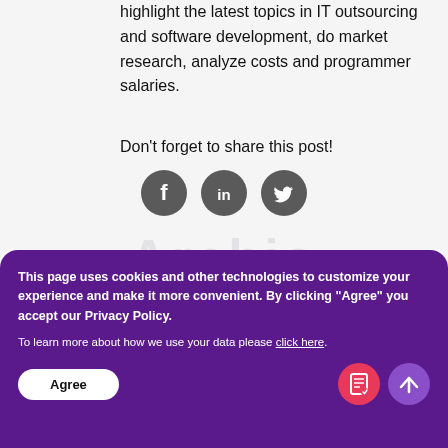highlight the latest topics in IT outsourcing and software development, do market research, analyze costs and programmer salaries.
Don't forget to share this post!
[Figure (illustration): Three circular social media icons: Facebook (f), LinkedIn (in), Twitter (bird), all dark gray]
[Figure (illustration): Faint watermark text 'Archi...' in light gray]
This page uses cookies and other technologies to customize your experience and make it more convenient. By clicking "Agree" you accept our Privacy Policy.
To learn more about how we use your data please click here.
Agree